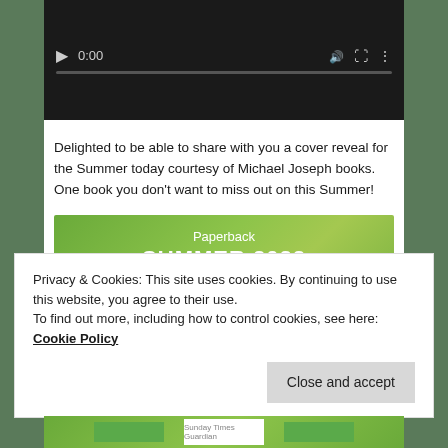[Figure (screenshot): Video player with dark background showing 0:00 timestamp and playback controls including play button, volume icon, fullscreen icon, and more options icon, with a progress bar at the bottom]
Delighted to be able to share with you a cover reveal for the Summer today courtesy of Michael Joseph books. One book you don't want to miss out on this Summer!
[Figure (photo): Book promotional image with green leafy background showing 'Paperback SUMMER 2022' text in white and a book cover strip at the bottom showing 'LIANE' in pink on a teal background]
Privacy & Cookies: This site uses cookies. By continuing to use this website, you agree to their use.
To find out more, including how to control cookies, see here: Cookie Policy
Close and accept